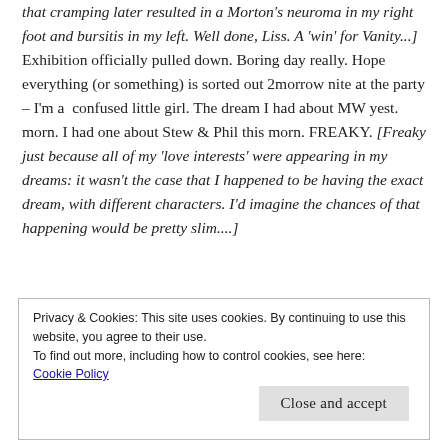that cramping later resulted in a Morton's neuroma in my right foot and bursitis in my left. Well done, Liss. A 'win' for Vanity...] Exhibition officially pulled down. Boring day really. Hope everything (or something) is sorted out 2morrow nite at the party – I'm a confused little girl. The dream I had about MW yest. morn. I had one about Stew & Phil this morn. FREAKY. [Freaky just because all of my 'love interests' were appearing in my dreams: it wasn't the case that I happened to be having the exact dream, with different characters. I'd imagine the chances of that happening would be pretty slim....]
Privacy & Cookies: This site uses cookies. By continuing to use this website, you agree to their use.
To find out more, including how to control cookies, see here:
Cookie Policy
Close and accept